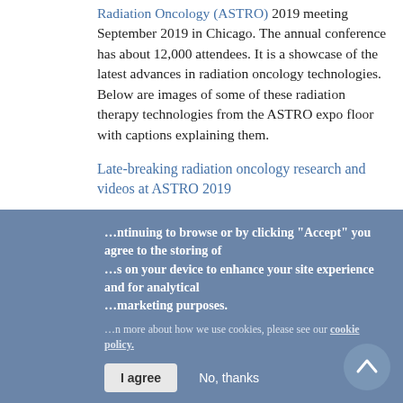Radiation Oncology (ASTRO) 2019 meeting September 2019 in Chicago. The annual conference has about 12,000 attendees. It is a showcase of the latest advances in radiation oncology technologies. Below are images of some of these radiation therapy technologies from the ASTRO expo floor with captions explaining them.
Late-breaking radiation oncology research and videos at ASTRO 2019
ASTRO Tries New Wrinkle for Presidential Symposium
Find news and videos from ASTRO 2019
By continuing to browse or by clicking “Accept” you agree to the storing of cookies on your device to enhance your site experience and for analytical and marketing purposes. Learn more about how we use cookies, please see our cookie policy.
I agree | No, thanks